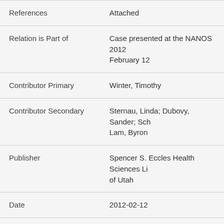| Field | Value |
| --- | --- |
| References | Attached |
| Relation is Part of | Case presented at the NANOS 2012 February 12 |
| Contributor Primary | Winter, Timothy |
| Contributor Secondary | Sternau, Linda; Dubovy, Sander; Sch... Lam, Byron |
| Publisher | Spencer S. Eccles Health Sciences Li... of Utah |
| Date | 2012-02-12 |
| Type | Text |
| Format | application/pdf |